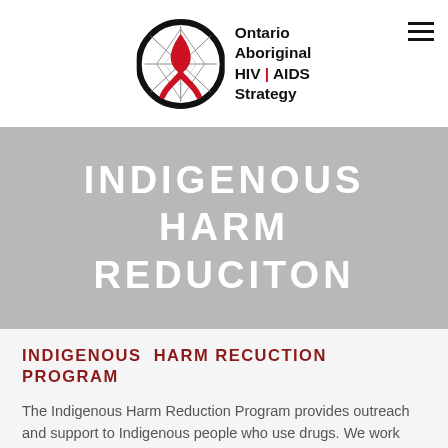[Figure (logo): Ontario Aboriginal HIV | AIDS Strategy logo — circular black ring with red AIDS ribbon and geometric diamond pattern inside, with bold text 'Ontario Aboriginal HIV | AIDS Strategy' to the right]
INDIGENOUS HARM REDUCITON
INDIGENOUS HARM RECUCTION PROGRAM
The Indigenous Harm Reduction Program provides outreach and support to Indigenous people who use drugs. We work from a culturaly safe place to ensure the needs of our